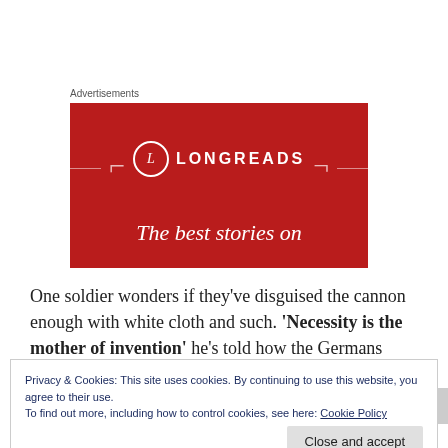Advertisements
[Figure (logo): Longreads advertisement banner with red background, circular L logo, decorative bracket lines, and tagline 'The best stories on']
One soldier wonders if they've disguised the cannon enough with white cloth and such. 'Necessity is the mother of invention' he's told how the Germans
Privacy & Cookies: This site uses cookies. By continuing to use this website, you agree to their use.
To find out more, including how to control cookies, see here: Cookie Policy
Close and accept